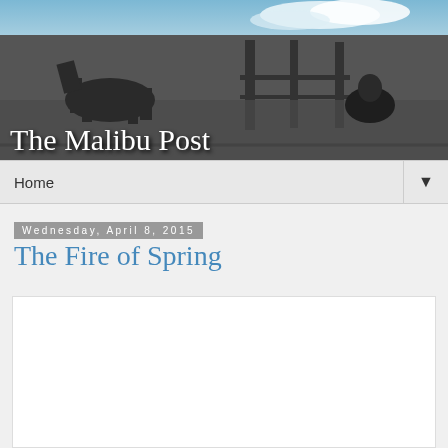[Figure (photo): Black and white header banner photo showing people and horses in a field with blue sky above. Title 'The Malibu Post' overlaid in white serif text.]
Home
Wednesday, April 8, 2015
The Fire of Spring
[Figure (other): White content area box, empty]